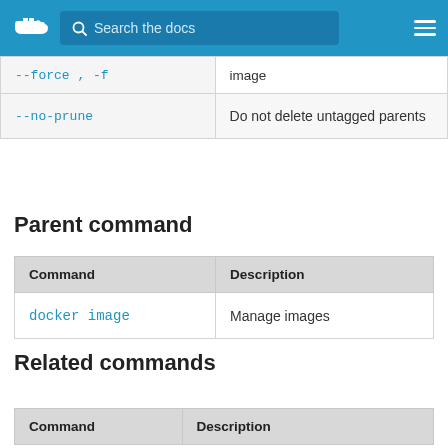Search the docs
|  |  |
| --- | --- |
| --force, -f (clipped) | image |
| --no-prune | Do not delete untagged parents |
Parent command
| Command | Description |
| --- | --- |
| docker image | Manage images |
Related commands
| Command | Description |
| --- | --- |